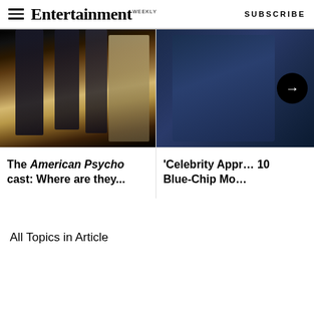Entertainment Weekly | SUBSCRIBE
[Figure (photo): American Psycho cast photo - group of actors in formal dress]
The American Psycho cast: Where are they...
[Figure (photo): Heavyset man in blue t-shirt on a dark background with arrow navigation circle]
'Celebrity Appr... 10 Blue-Chip Mo...
All Topics in Article